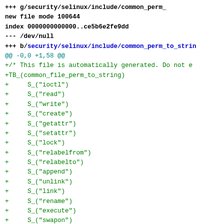diff --git a/security/selinux/include/common_perm_...
new file mode 100644
index 0000000000000..ce5b6e2fe9dd
--- /dev/null
+++ b/security/selinux/include/common_perm_to_strin
@@ -0,0 +1,58 @@
+/* This file is automatically generated. Do not e
+TB_(common_file_perm_to_string)
+     S_("ioctl")
+     S_("read")
+     S_("write")
+     S_("create")
+     S_("getattr")
+     S_("setattr")
+     S_("lock")
+     S_("relabelfrom")
+     S_("relabelto")
+     S_("append")
+     S_("unlink")
+     S_("link")
+     S_("rename")
+     S_("execute")
+     S_("swapon")
+     S_("quotaon")
+     S_("mounton")
+TE_(common_file_perm_to_string)
+